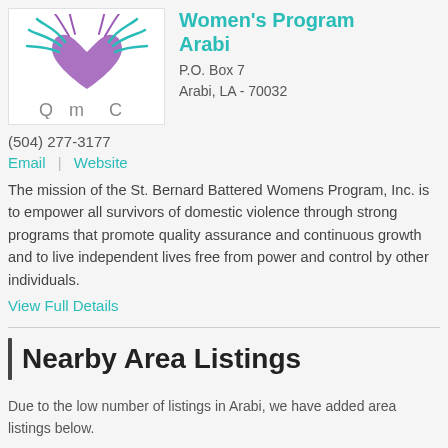[Figure (logo): Stylized purple heart with teal feather/leaf decorations forming a crab or sun-like shape, organization logo for St. Bernard Battered Women's Program]
Women's Program
Arabi
P.O. Box 7
Arabi, LA - 70032
(504) 277-3177
Email | Website
The mission of the St. Bernard Battered Womens Program, Inc. is to empower all survivors of domestic violence through strong programs that promote quality assurance and continuous growth and to live independent lives free from power and control by other individuals.
View Full Details
Nearby Area Listings
Due to the low number of listings in Arabi, we have added area listings below.
St. Bernard Dens Center - Chalmette